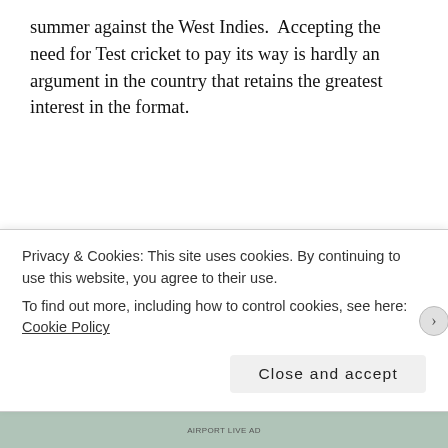summer against the West Indies. Accepting the need for Test cricket to pay its way is hardly an argument in the country that retains the greatest interest in the format.
Experiment by all means, but note that the players appear to be rather opposed.
It's easy to be cynical about the ICC, but then they do keep
Privacy & Cookies: This site uses cookies. By continuing to use this website, you agree to their use.
To find out more, including how to control cookies, see here: Cookie Policy
Close and accept